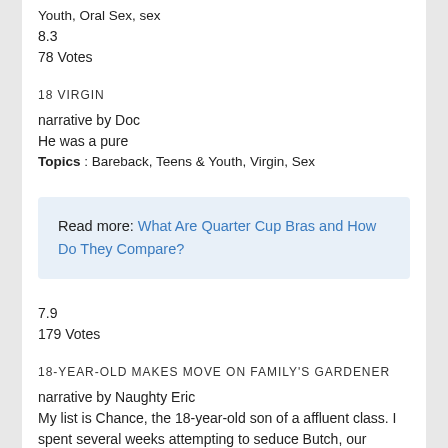Youth, Oral Sex, sex
8.3
78 Votes
18 VIRGIN
narrative by Doc
He was a pure
Topics : Bareback, Teens & Youth, Virgin, Sex
Read more: What Are Quarter Cup Bras and How Do They Compare?
7.9
179 Votes
18-YEAR-OLD MAKES MOVE ON FAMILY'S GARDENER
narrative by Naughty Eric
My list is Chance, the 18-year-old son of a affluent class. I spent several weeks attempting to seduce Butch, our